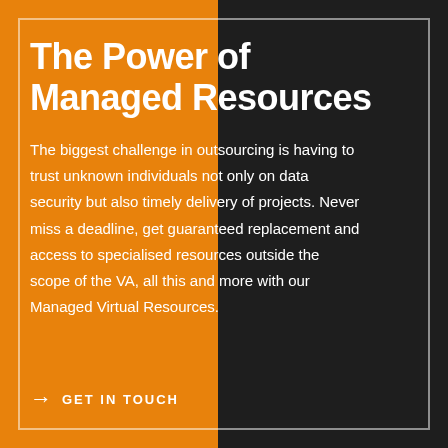The Power of Managed Resources
The biggest challenge in outsourcing is having to trust unknown individuals not only on data security but also timely delivery of projects. Never miss a deadline, get guaranteed replacement and access to specialised resources outside the scope of the VA, all this and more with our Managed Virtual Resources.
→ GET IN TOUCH